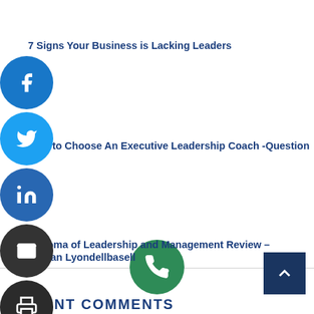7 Signs Your Business is Lacking Leaders
How to Choose An Executive Leadership Coach -Question 6
Diploma of Leadership and Management Review – Chetan Lyondellbasell
…ership Training Worth It? Learn more
…ve Leadership Is The Root Cause of Every Negative Culture
RECENT COMMENTS